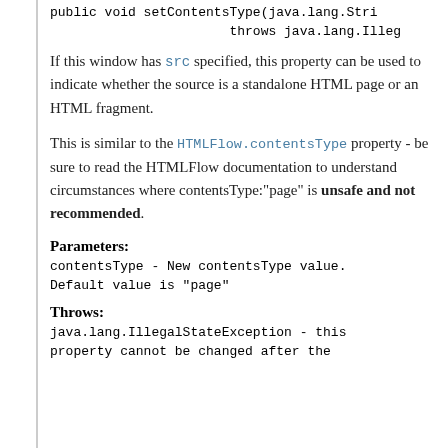public void setContentsType(java.lang.Stri...
                throws java.lang.Illeg...
If this window has src specified, this property can be used to indicate whether the source is a standalone HTML page or an HTML fragment.
This is similar to the HTMLFlow.contentsType property - be sure to read the HTMLFlow documentation to understand circumstances where contentsType:"page" is unsafe and not recommended.
Parameters:
contentsType - New contentsType value. Default value is "page"
Throws:
java.lang.IllegalStateException - this property cannot be changed after the...